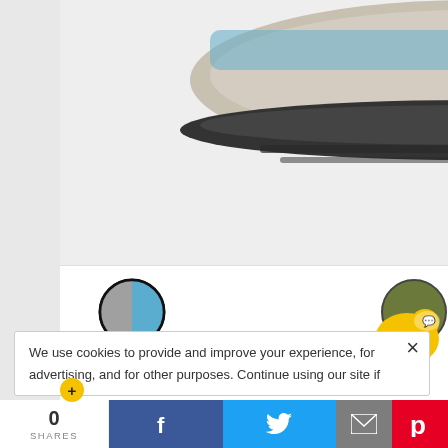[Figure (photo): Bottom sole view of a hiking shoe with blue and tan coloring, partial view cut off at top]
[Figure (illustration): Color swatch circle showing blue and gray/tan split, with black border ring]
WOMEN'S VOYAGEUR
$145.00
[Figure (illustration): Star rating showing approximately 4.5 out of 5 stars]
[Figure (illustration): Yellow add-to-cart button with shopping cart icon]
[Figure (illustration): Pagination: yellow diamond icon selected, two gray square icons]
[Figure (illustration): Yellow notification bubble with number 1 and speech bubble icon]
We use cookies to provide and improve your experience, for advertising, and for other purposes. Continue using our site if
0 SHARES  [Facebook] [Twitter] [Email] [Pinterest]